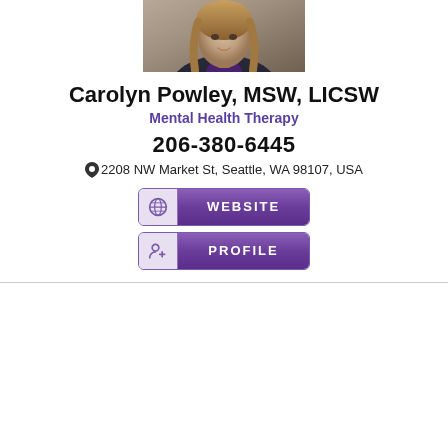[Figure (photo): Professional headshot photo of Carolyn Powley, a woman with long blonde/brown hair wearing a dark jacket]
Carolyn Powley, MSW, LICSW
Mental Health Therapy
206-380-6445
2208 NW Market St, Seattle, WA 98107, USA
[Figure (other): Purple button with globe icon labeled WEBSITE]
[Figure (other): Purple button with profile icon labeled PROFILE]